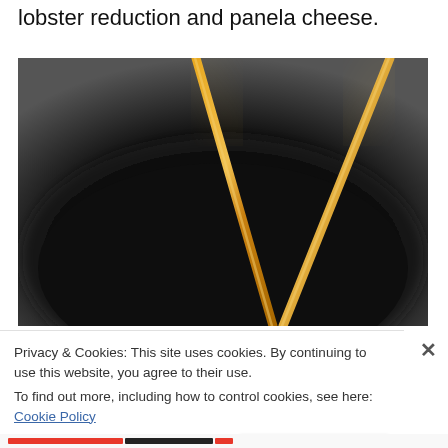lobster reduction and panela cheese.
[Figure (photo): Close-up photo of two golden/orange chopsticks resting on a dark round plate or bowl, shot from above with a blurred background.]
Privacy & Cookies: This site uses cookies. By continuing to use this website, you agree to their use.
To find out more, including how to control cookies, see here: Cookie Policy
Close and accept